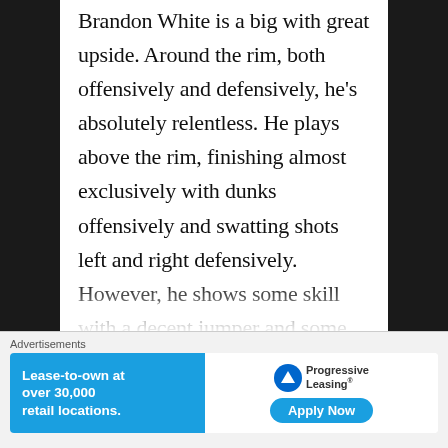Brandon White is a big with great upside. Around the rim, both offensively and defensively, he's absolutely relentless. He plays above the rim, finishing almost exclusively with dunks offensively and swatting shots left and right defensively. However, he shows some skill with a decent jumper and some post moves. White's long arms make him a formidable presence on the court. A skilled big that can shoot is somethi…
[Figure (other): Advertisement banner for Progressive Leasing: 'Lease-to-own at over 30,000 retail locations. Apply Now']